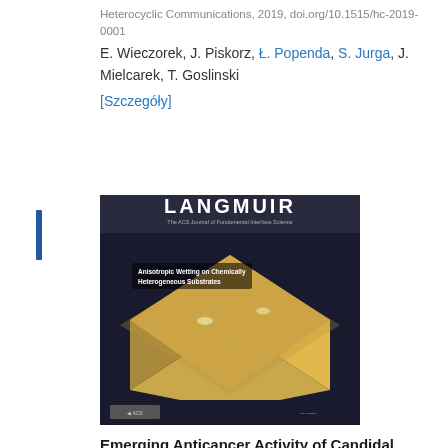Heterocyclic Communications, 2019, doi.org/10.1515/hc-2019-0001
E. Wieczorek, J. Piskorz, Ł. Popenda, S. Jurga, J. Mielcarek, T. Goslinski
[Szczegóły]
[Figure (photo): Cover image of Langmuir journal showing anisotropic wetting on chemically heterogeneous substrates]
Emerging Anticancer Activity of Candidal Glucoseamine-6-Phosphate Synthase Inhibitors upon Nanoparticle-mediated Delivery
ACS Publications - Langmuir, 2019, 35 (15), 5281-5293
A. Kertmen, Ł. Przysiecka, L. E. Coy, Ł. Popenda, Ryszard Andruszkiewicz, S. Jurga, Sławomir Milewski
[Szczegóły]